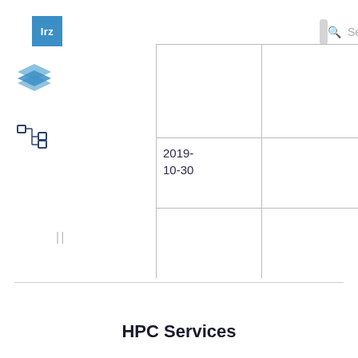[Figure (logo): LRZ blue square logo with white 'lrz' text]
[Figure (screenshot): Search bar with magnifying glass icon and 'Search' placeholder text]
[Figure (illustration): Blue layered stack icon in left sidebar]
[Figure (illustration): Dark blue hierarchy/tree icon in left sidebar]
| 2019-
10-30 |
||
HPC Services